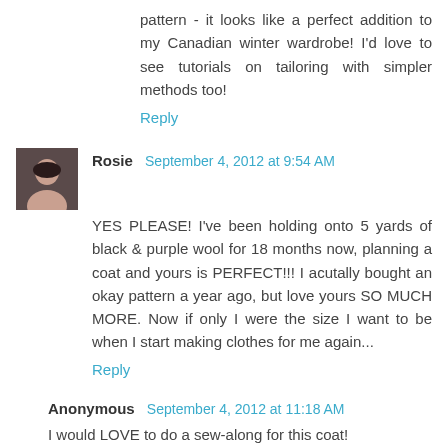pattern - it looks like a perfect addition to my Canadian winter wardrobe! I'd love to see tutorials on tailoring with simpler methods too!
Reply
Rosie  September 4, 2012 at 9:54 AM
YES PLEASE! I've been holding onto 5 yards of black & purple wool for 18 months now, planning a coat and yours is PERFECT!!! I acutally bought an okay pattern a year ago, but love yours SO MUCH MORE. Now if only I were the size I want to be when I start making clothes for me again...
Reply
Anonymous  September 4, 2012 at 11:18 AM
I would LOVE to do a sew-along for this coat!
Krista